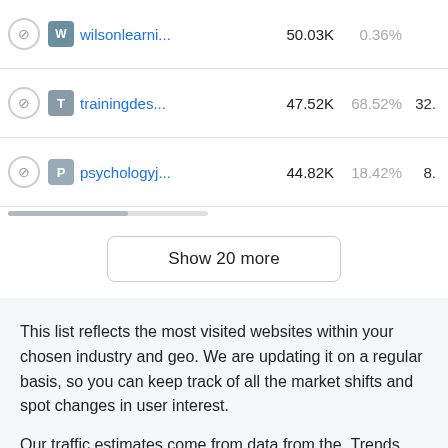|  |  | Site | Visits | % | Col |
| --- | --- | --- | --- | --- | --- |
|  | W | wilsonlearni... | 50.03K | 0.36% |  |
|  | T | trainingdes... | 47.52K | 68.52% | 32.5 |
|  | P | psychologyj... | 44.82K | 18.42% | 8. |
Show 20 more
This list reflects the most visited websites within your chosen industry and geo. We are updating it on a regular basis, so you can keep track of all the market shifts and spot changes in user interest.
Our traffic estimates come from data from the .Trends platform, which grounds its insights on petabytes of that combines various proprietary and third-party data sources. We use our own AI algorithms to accumulate, clean, and process all this raw data, reflecting 200M+